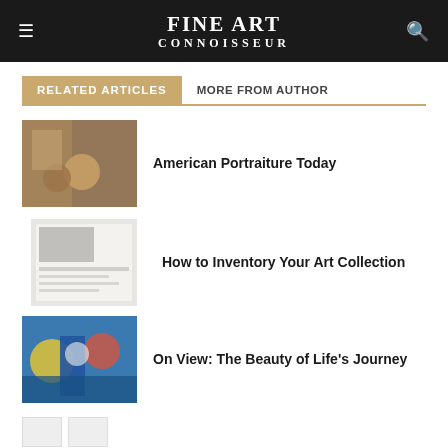FINE ART CONNOISSEUR
RELATED ARTICLES | MORE FROM AUTHOR
American Portraiture Today
How to Inventory Your Art Collection
On View: The Beauty of Life's Journey